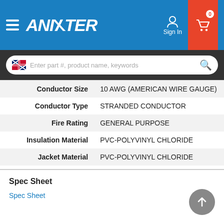ANIXTER — Sign In — Cart (0)
[Figure (screenshot): Anixter website header with blue background, hamburger menu, ANIXTER logo, Sign In button, and cart icon with 0 items. Below header is a dark search bar with UK flag, search input, and magnifier icon.]
| Property | Value |
| --- | --- |
| Conductor Size | 10 AWG (AMERICAN WIRE GAUGE) |
| Conductor Type | STRANDED CONDUCTOR |
| Fire Rating | GENERAL PURPOSE |
| Insulation Material | PVC-POLYVINYL CHLORIDE |
| Jacket Material | PVC-POLYVINYL CHLORIDE |
| Screen/Shield Type | BRAID OVER FOIL SHIELD |
| Screen/Shield | YES |
| Shield Construction | OVERALL FOIL & BRAID |
| UNSPSC Code | 26121613 |
Spec Sheet
Spec Sheet